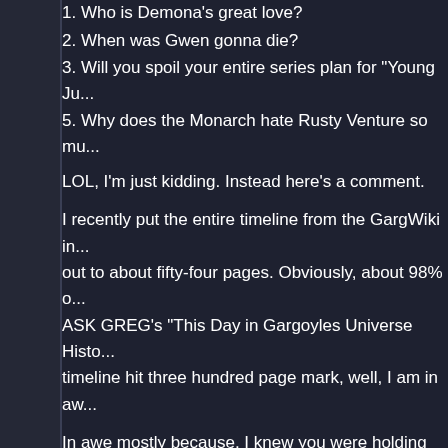1. Who is Demona's great love?
2. When was Gwen gonna die?
3. Will you spoil your entire series plan for "Young Ju...
5. Why does the Monarch hate Rusty Venture so mu...
LOL, I'm just kidding. Instead here's a comment.
I recently put the entire timeline from the GargWiki in... out to about fifty-four pages. Obviously, about 98% o... ASK GREG's "This Day in Gargoyles Universe Histo... timeline hit three hundred page mark, well, I am in aw...
In awe mostly because, I knew you were holding out... episodes and eighteen comics, and we still have not... have in your head for this world.
I am impressed, sir. Impressed. And, I hope you cons... Universe History" back sometime soon.
Greg responds...
I'm a little to swamped to do that right now. And besid... changed.